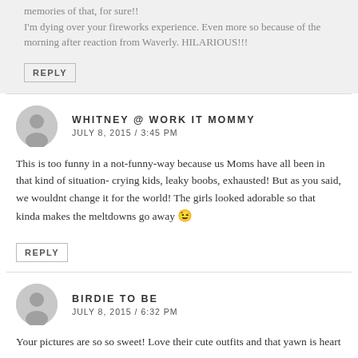memories of that, for sure!!
I'm dying over your fireworks experience. Even more so because of the morning after reaction from Waverly. HILARIOUS!!!
REPLY
WHITNEY @ WORK IT MOMMY
JULY 8, 2015 / 3:45 PM
This is too funny in a not-funny-way because us Moms have all been in that kind of situation- crying kids, leaky boobs, exhausted! But as you said, we wouldnt change it for the world! The girls looked adorable so that kinda makes the meltdowns go away 😉
REPLY
BIRDIE TO BE
JULY 8, 2015 / 6:32 PM
Your pictures are so so sweet! Love their cute outfits and that yawn is heart